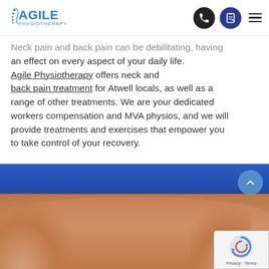Agile Physiotherapy [logo] [phone icon] [booking icon] [menu]
Neck pain and back pain can be debilitating, having an effect on every aspect of your daily life. Agile Physiotherapy offers neck and back pain treatment for Atwell locals, as well as a range of other treatments. We are your dedicated workers compensation and MVA physios, and we will provide treatments and exercises that empower you to take control of your recovery.
[Figure (photo): Close-up photo of a person's lower back with hands performing physiotherapy massage. The person is wearing a blue top. A scroll-to-top button and reCAPTCHA badge are overlaid on the image.]